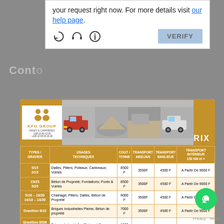your request right now. For more details visit our help page.
[Figure (screenshot): CAPTCHA dialog icons: reload, headphones, info, and VERIFY button]
Conta...
[Figure (screenshot): KFO Group logo with two figures, GROUP text, MINES & CARRIERES, phone numbers]
[Figure (photo): Four photos of dump trucks and gravel/aggregate material]
| TYPES / GRAVIER | USAGES TECHNIQUES | COUT / TONNE | TRANSPORT ABIDJAN | TRANSPORT BANLIEUE | TRANSPORT INTERIEUR 150 KM et + |
| --- | --- | --- | --- | --- | --- |
| 5/15
2/15 | Dalles, Piliers; Poteaux; Caniveaux; Voiries | 8500 F | 3500F | 4500 F | A Partir De 9000 F |
| 15/25
5/25 | Béton de Propreté; Fondations; Ponts & Voiries | 8500 F | 3500F | 4500 F | A Partir De 9000 F |
| 5/10 – 10/20
14/10 – 14/20 | Chainage; Piliers; Dalles, Béton de Propreté | 9000 F | 3500F | 4500 F | A Partir De 9000 F |
| Gravillon 0/10 | Briques Industrielles Pleine, Béton de propreté | 7000 F | 3500F | 4500 F | A Partir De 9000 F |
| Gravillon 0/5/8 - Secondaires | Briques Industrielles Pleine et Creuses; Hourdis | 6000 F | 3500F | 4500 F | A Partir De 9000 F |
| GravBou 0/5
Primaire | Briques & Pavés; Hourdis | 5000 F | 3500F | 4500 F | A Partir De 9000 F |
Comment puis-je vous aider ?
| Politique de confidentialité
Privacy · Terms